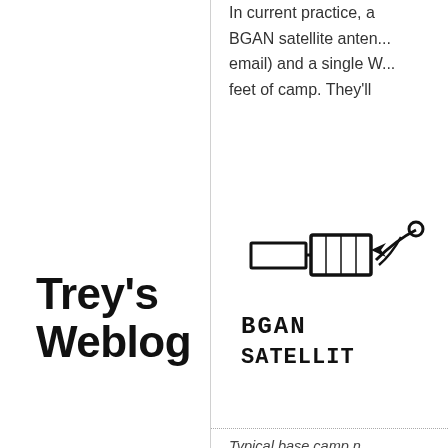In current practice, a BGAN satellite antenna (email) and a single W feet of camp. They'll
[Figure (illustration): Hand-drawn sketch of a BGAN satellite antenna with handwritten label reading 'BGAN SATELLITE']
Typical base camp n
Suppose we'd like to
Trey's Weblog
Feed
Archive
Home